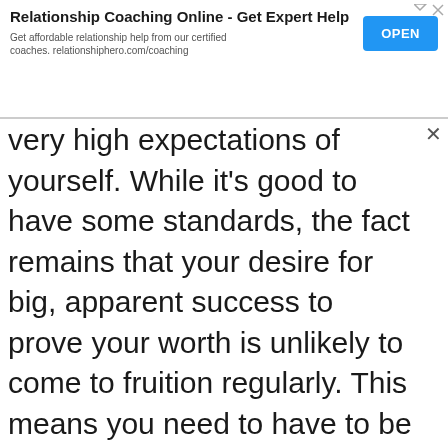[Figure (screenshot): Advertisement banner for Relationship Coaching Online with an OPEN button]
very high expectations of yourself. While it's good to have some standards, the fact remains that your desire for big, apparent success to prove your worth is unlikely to come to fruition regularly. This means you need to have to be more flexible with the way you look at your progress. Small steps can be just as valuable as big ones, so learn to notice those little steps you take and validate them.